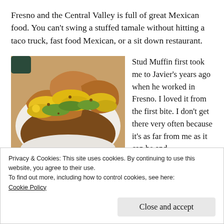Fresno and the Central Valley is full of great Mexican food. You can't swing a stuffed tamale without hitting a taco truck, fast food Mexican, or a sit down restaurant.
[Figure (photo): Plate of Mexican food with fried items topped with yellow cheese, green toppings, and brown beans/sauce]
Stud Muffin first took me to Javier's years ago when he worked in Fresno. I loved it from the first bite. I don't get there very often because it's as far from me as it can be and
Privacy & Cookies: This site uses cookies. By continuing to use this website, you agree to their use.
To find out more, including how to control cookies, see here:
Cookie Policy
Close and accept